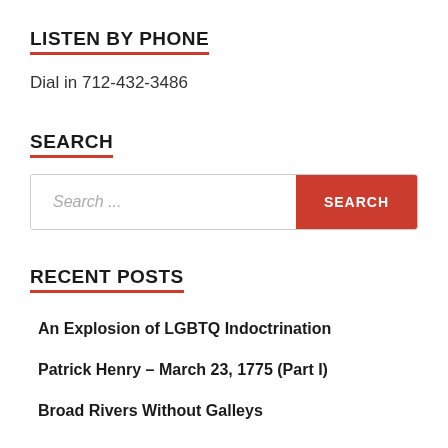LISTEN BY PHONE
Dial in 712-432-3486
SEARCH
[Figure (other): Search bar with text input placeholder 'Search ...' and a red SEARCH button]
RECENT POSTS
An Explosion of LGBTQ Indoctrination
Patrick Henry – March 23, 1775 (Part I)
Broad Rivers Without Galleys